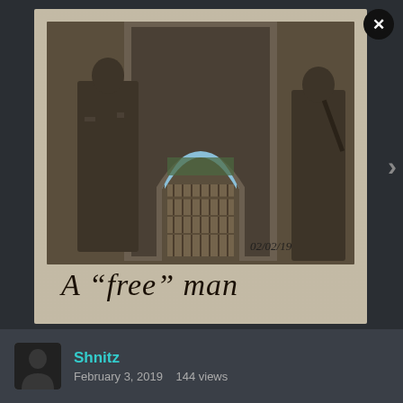[Figure (photo): A polaroid-style photograph/illustration showing two figures on either side of a large stone archway, with a gate visible through the arch and trees/sky beyond. A handwritten date '02/02/19' appears in the lower right of the photo area. Below the photo area, handwritten cursive text reads: A "free" man]
Shnitz
February 3, 2019    144 views